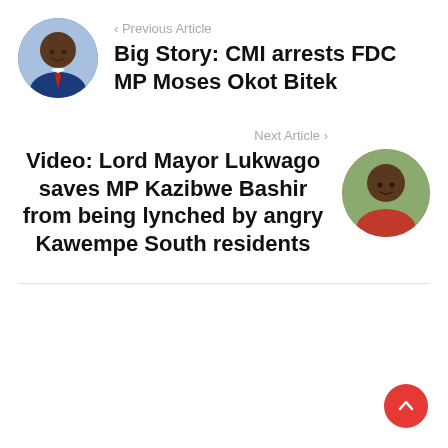‹ Previous Article
Big Story: CMI arrests FDC MP Moses Okot Bitek
Next Article ›
Video: Lord Mayor Lukwago saves MP Kazibwe Bashir from being lynched by angry Kawempe South residents
[Figure (photo): Circular portrait photo of a man in a blue suit with red tie, smiling]
[Figure (photo): Circular portrait photo of a young man in a red shirt]